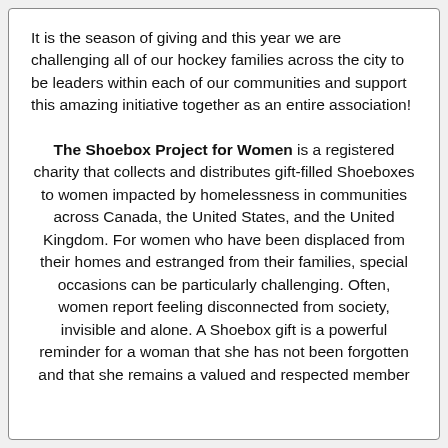It is the season of giving and this year we are challenging all of our hockey families across the city to be leaders within each of our communities and support this amazing initiative together as an entire association!
The Shoebox Project for Women is a registered charity that collects and distributes gift-filled Shoeboxes to women impacted by homelessness in communities across Canada, the United States, and the United Kingdom. For women who have been displaced from their homes and estranged from their families, special occasions can be particularly challenging. Often, women report feeling disconnected from society, invisible and alone. A Shoebox gift is a powerful reminder for a woman that she has not been forgotten and that she remains a valued and respected member